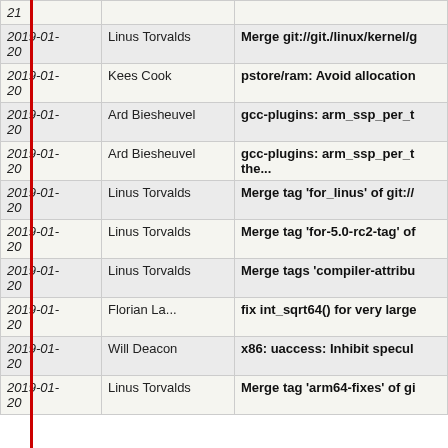| Date | Author | Message |
| --- | --- | --- |
| 2019-01-21 |  |  |
| 2019-01-20 | Linus Torvalds | Merge git://git./linux/kernel/g |
| 2019-01-20 | Kees Cook | pstore/ram: Avoid allocation |
| 2019-01-20 | Ard Biesheuvel | gcc-plugins: arm_ssp_per_t |
| 2019-01-20 | Ard Biesheuvel | gcc-plugins: arm_ssp_per_t the... |
| 2019-01-20 | Linus Torvalds | Merge tag 'for_linus' of git:// |
| 2019-01-20 | Linus Torvalds | Merge tag 'for-5.0-rc2-tag' of |
| 2019-01-20 | Linus Torvalds | Merge tags 'compiler-attribu |
| 2019-01-20 | Florian La... | fix int_sqrt64() for very large |
| 2019-01-20 | Will Deacon | x86: uaccess: Inhibit specul |
| 2019-01-20 | Linus Torvalds | Merge tag 'arm64-fixes' of gi |